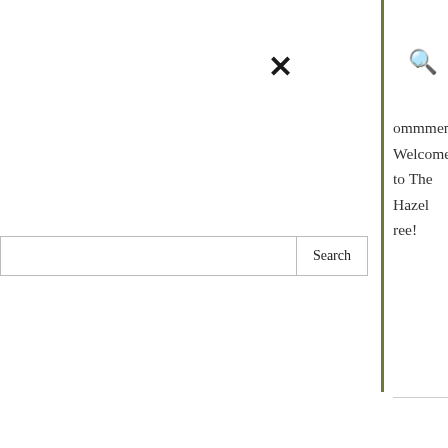×
∨
🔍
ommment. Welcome to The Hazel
ree!
Search
∨
ONEYPHOTOGRAPHY
013 AT 8:37 AM
s on The Hazel
ave nominated you for the
e Blogger award. I hope the you
e to accept. Please check out the
n my blog,
Maclaine's skull – a
d
^
dmooneyphoto.wordpress.com/2
22/2025/